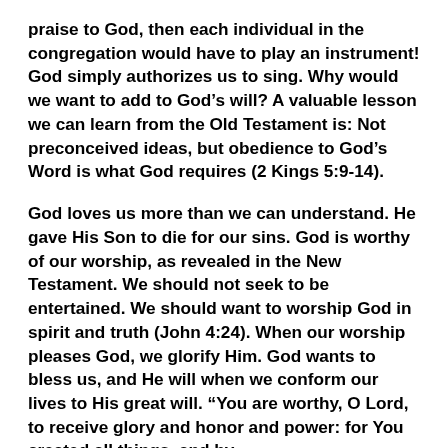praise to God, then each individual in the congregation would have to play an instrument! God simply authorizes us to sing. Why would we want to add to God's will? A valuable lesson we can learn from the Old Testament is: Not preconceived ideas, but obedience to God's Word is what God requires (2 Kings 5:9-14).
God loves us more than we can understand. He gave His Son to die for our sins. God is worthy of our worship, as revealed in the New Testament. We should not seek to be entertained. We should want to worship God in spirit and truth (John 4:24). When our worship pleases God, we glorify Him. God wants to bless us, and He will when we conform our lives to His great will. “You are worthy, O Lord, to receive glory and honor and power: for You created all things, and by